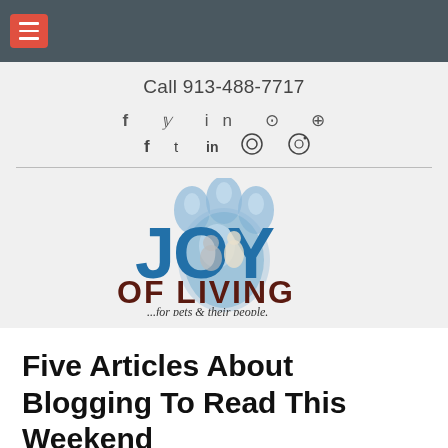Call 913-488-7717
[Figure (logo): Joy of Living logo with blue paw print and text 'JOY OF LIVING ...for pets & their people.']
Five Articles About Blogging To Read This Weekend